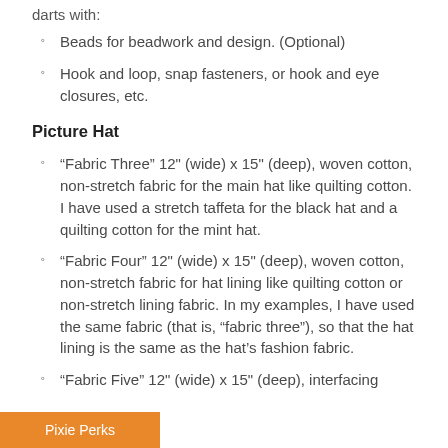darts with:
Beads for beadwork and design. (Optional)
Hook and loop, snap fasteners, or hook and eye closures, etc.
Picture Hat
“Fabric Three” 12" (wide) x 15" (deep), woven cotton, non-stretch fabric for the main hat like quilting cotton. I have used a stretch taffeta for the black hat and a quilting cotton for the mint hat.
“Fabric Four” 12" (wide) x 15" (deep), woven cotton, non-stretch fabric for hat lining like quilting cotton or non-stretch lining fabric. In my examples, I have used the same fabric (that is, “fabric three”), so that the hat lining is the same as the hat’s fashion fabric.
“Fabric Five” 12" (wide) x 15" (deep), interfacing
Pixie Perks